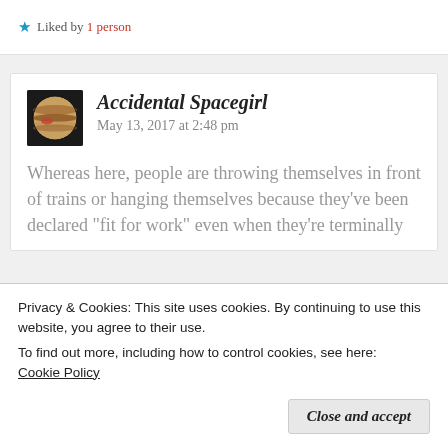Liked by 1 person
[Figure (photo): Avatar thumbnail showing Jupiter planet image with brown bands]
Accidental Spacegirl  May 13, 2017 at 2:48 pm
Whereas here, people are throwing themselves in front of trains or hanging themselves because they’ve been declared “fit for work” even when they’re terminally
Privacy & Cookies: This site uses cookies. By continuing to use this website, you agree to their use.
To find out more, including how to control cookies, see here:
Cookie Policy
Close and accept